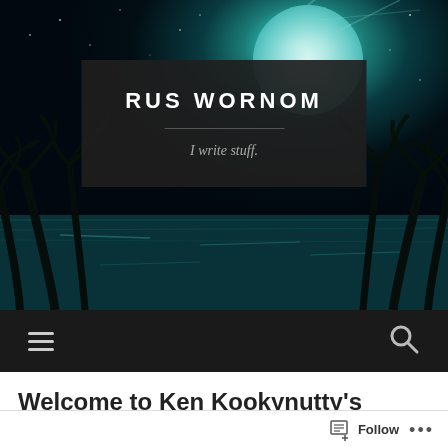[Figure (screenshot): Website header screenshot showing 'RUS WORNOM' blog header with a tropical night scene background featuring palm trees, a large teal moon, and starry sky. A dark semi-transparent box contains the site title and tagline.]
RUS WORNOM
I write stuff.
[Figure (other): Dark navigation bar with hamburger menu icon on left and search magnifying glass icon on right]
Welcome to Ken Kookynutty's
Follow ...